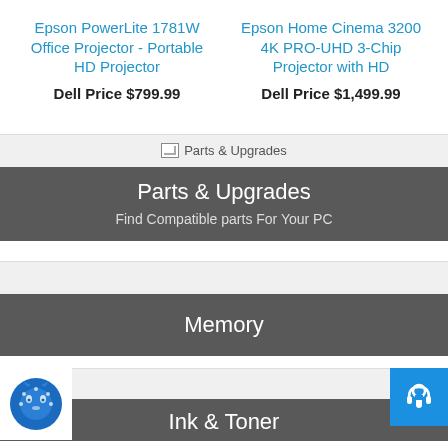Epson PowerLite 1781W Office Projector - Portable HD Projector
Dell Price $799.99
Epson Home Cinema 3200 4K PRO-UHD 3-Chip Projector with HD
Dell Price $1,499.99
[Figure (screenshot): Parts & Upgrades category section with icon, dark header, and subtitle 'Find Compatible parts For Your PC']
[Figure (screenshot): Memory category section with dark header]
[Figure (screenshot): Ink & Toner category section partially visible with logo and help button]